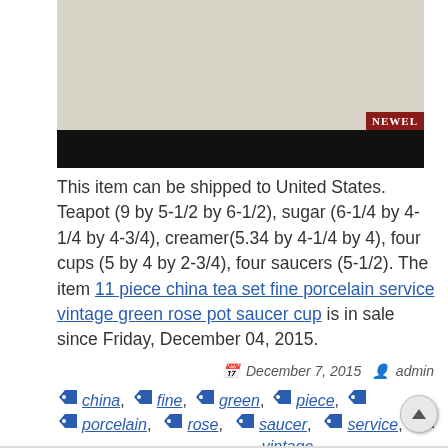[Figure (photo): Product photo of a china tea set piece (creamy/ivory color) with a Newel logo badge in the corner, bottom portion blacked out]
This item can be shipped to United States. Teapot (9 by 5-1/2 by 6-1/2), sugar (6-1/4 by 4-1/4 by 4-3/4), creamer(5.34 by 4-1/4 by 4), four cups (5 by 4 by 2-3/4), four saucers (5-1/2). The item 11 piece china tea set fine porcelain service vintage green rose pot saucer cup is in sale since Friday, December 04, 2015.
December 7, 2015  admin
china
fine
green
piece
porcelain
rose
saucer
service
vintage